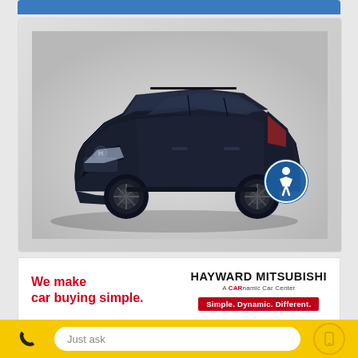[Figure (photo): Dark navy blue Honda Pilot SUV shown from front-left 3/4 angle on light grey gradient background. Accessibility icon badge visible in bottom right corner of image.]
We make car buying simple.
HAYWARD MITSUBISHI
A CARnamic Car Center
Simple. Dynamic. Different.
USED
Just ask